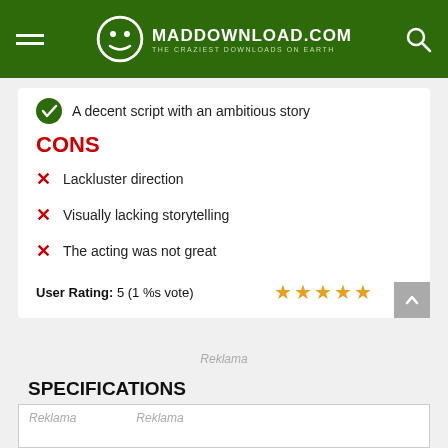MADDOWNLOAD.COM — THE CRAZIEST DOWNLOADS ON EARTH
A decent script with an ambitious story
CONS
Lackluster direction
Visually lacking storytelling
The acting was not great
User Rating: 5 (1 %s vote)
Reklama
SPECIFICATIONS
Reklama
Reklama